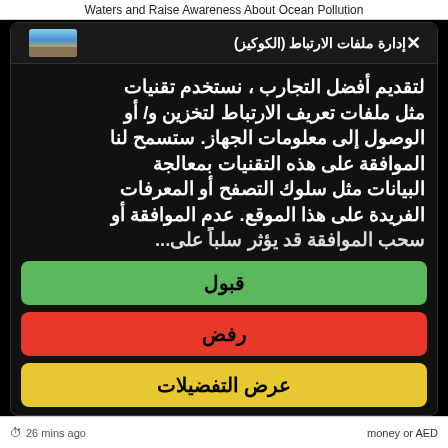Waters and Raise Awareness About Ocean Pollution
إدارة ملفات الارتباط (الكوكيز)
لتقديم أفضل التجارب ، نستخدم تقنيات مثل ملفات تعريف الارتباط لتخزين و/ أو الوصول إلى معلومات الجهاز. ستسمح لنا الموافقة على هذه التقنيات بمعالجة البيانات مثل سلوك التصفح أو المعرفات الفريدة على هذا الموقع. عدم الموافقة أو سحب الموافقة قد يؤثر سلباً على…
قبول
رفض
عرض التفضيلات
26 mins ago    money or AED